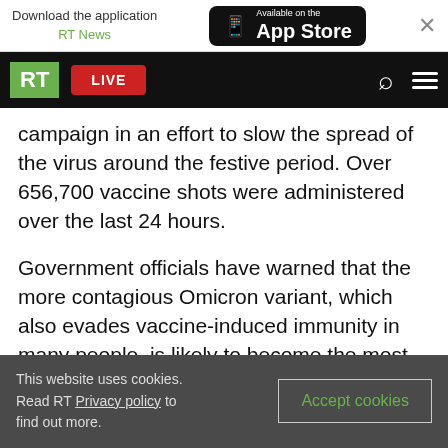Download the application RT News — Available on the App Store
[Figure (screenshot): RT News navigation bar with green RT logo, red LIVE button, search icon and hamburger menu on black background]
campaign in an effort to slow the spread of the virus around the festive period. Over 656,700 vaccine shots were administered over the last 24 hours.
Government officials have warned that the more contagious Omicron variant, which also evades vaccine-induced immunity in many people, is likely to become the most prevalent strain in the coming days.
This website uses cookies. Read RT Privacy policy to find out more. [Accept cookies]